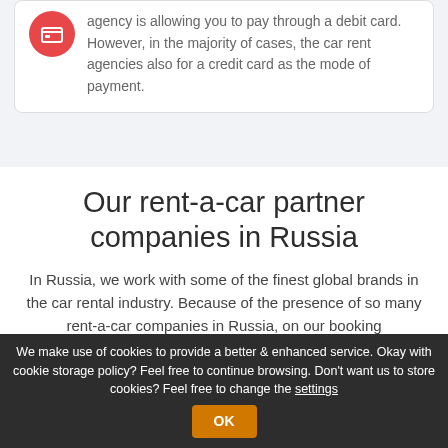agency is allowing you to pay through a debit card. However, in the majority of cases, the car rent agencies also for a credit card as the mode of payment.
Our rent-a-car partner companies in Russia
In Russia, we work with some of the finest global brands in the car rental industry. Because of the presence of so many rent-a-car companies in Russia, on our booking
We make use of cookies to provide a better & enhanced service. Okay with cookie storage policy? Feel free to continue browsing. Don't want us to store cookies? Feel free to change the settings